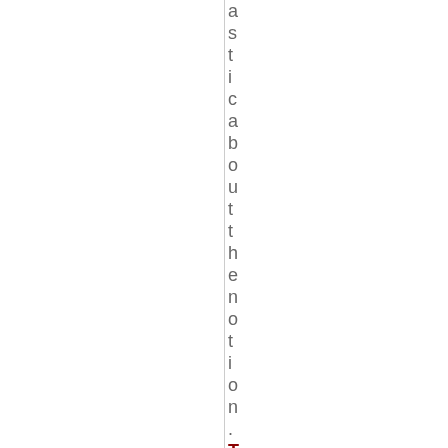asticaboutthenotion. The Hi
The Hi